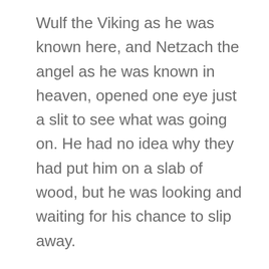Wulf the Viking as he was known here, and Netzach the angel as he was known in  heaven, opened one eye just a slit to see what was going on. He had no idea why they had put him on a slab of wood, but he was looking and waiting for his chance to slip away.
“Bring up the offerings,” the Chieftain said.
One by one, everyone put something